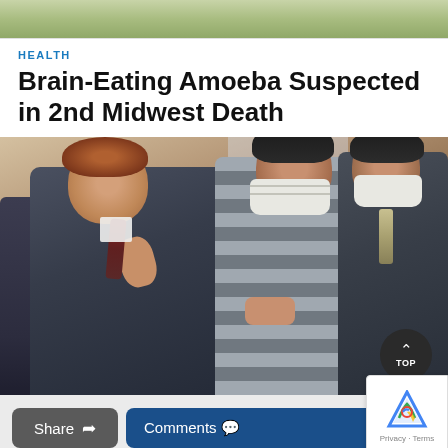[Figure (photo): Partial outdoor/nature photo at top of page, cropped]
HEALTH
Brain-Eating Amoeba Suspected in 2nd Midwest Death
[Figure (photo): Courtroom scene with three men: a lawyer in a suit on the left, a defendant in striped clothing and white mask in the center, and another man in a suit and white mask on the right. A 'TOP' scroll button is overlaid in the bottom right corner of the image.]
Share
Comments
Privacy · Terms